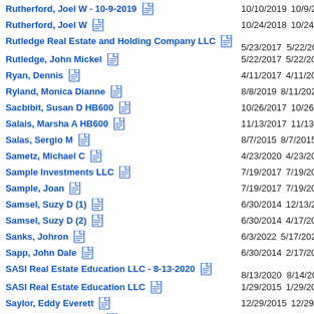Rutherford, Joel W - 10-9-2019 | 10/10/2019 10/9/2019
Rutherford, Joel W | 10/24/2018 10/24/2018
Rutledge Real Estate and Holding Company LLC | 5/23/2017 5/22/2017
Rutledge, John Mickel | 5/22/2017 5/22/2017
Ryan, Dennis | 4/11/2017 4/11/2017
Ryland, Monica Dianne | 8/8/2019 8/11/2020
Sacbibit, Susan D HB600 | 10/26/2017 10/26/2017
Salais, Marsha A HB600 | 11/13/2017 11/13/2017
Salas, Sergio M | 8/7/2015 8/7/2015
Sametz, Michael C | 4/23/2020 4/23/2020
Sample Investments LLC | 7/19/2017 7/19/2017
Sample, Joan | 7/19/2017 7/19/2017
Samsel, Suzy D (1) | 6/30/2014 12/13/2012
Samsel, Suzy D (2) | 6/30/2014 4/17/2014
Sanks, Johron | 6/3/2022 5/17/2022
Sapp, John Dale | 6/30/2014 2/17/2013
SASI Real Estate Education LLC - 8-13-2020 | 8/13/2020 8/14/2020
SASI Real Estate Education LLC | 1/29/2015 1/29/2015
Saylor, Eddy Everett | 12/29/2015 12/29/2015
Scheetz, Nathan Cody | 6/30/2014 2/18/2014